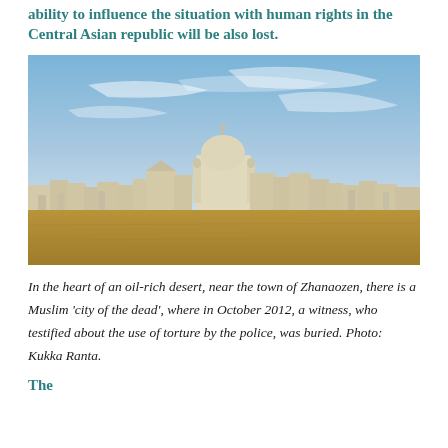ability to influence the situation with human rights in the Central Asian republic will be also lost.
[Figure (photo): A Muslim cemetery ('city of the dead') in a desert landscape near the town of Zhanaozen, with white mausoleum structures and a central domed building visible on the horizon against a blue sky.]
In the heart of an oil-rich desert, near the town of Zhanaozen, there is a Muslim 'city of the dead', where in October 2012, a witness, who testified about the use of torture by the police, was buried. Photo: Kukka Ranta.
The...